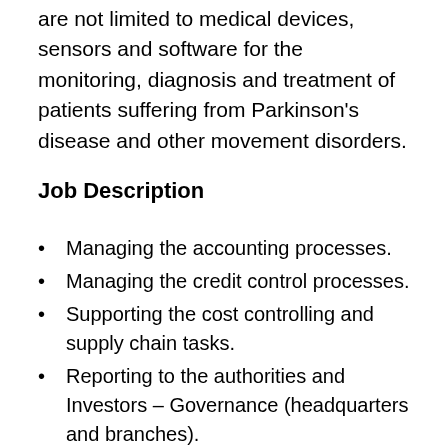are not limited to medical devices, sensors and software for the monitoring, diagnosis and treatment of patients suffering from Parkinson's disease and other movement disorders.
Job Description
Managing the accounting processes.
Managing the credit control processes.
Supporting the cost controlling and supply chain tasks.
Reporting to the authorities and Investors – Governance (headquarters and branches).